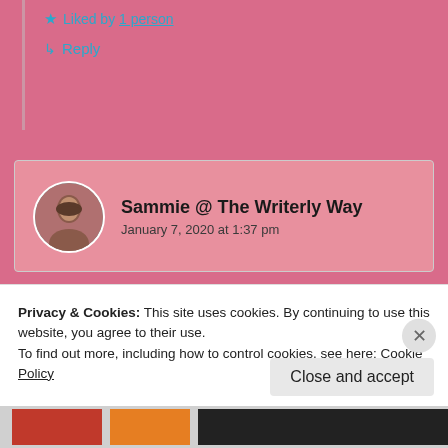Liked by 1 person
Reply
Sammie @ The Writerly Way
January 7, 2020 at 1:37 pm
Privacy & Cookies: This site uses cookies. By continuing to use this website, you agree to their use.
To find out more, including how to control cookies, see here: Cookie Policy
Close and accept